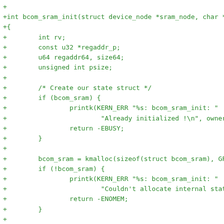+
+int bcom_sram_init(struct device_node *sram_node, char *owne
+{
+        int rv;
+        const u32 *regaddr_p;
+        u64 regaddr64, size64;
+        unsigned int psize;
+
+        /* Create our state struct */
+        if (bcom_sram) {
+                printk(KERN_ERR "%s: bcom_sram_init: "
+                        "Already initialized !\n", owner);
+                return -EBUSY;
+        }
+
+        bcom_sram = kmalloc(sizeof(struct bcom_sram), GFP_KER
+        if (!bcom_sram) {
+                printk(KERN_ERR "%s: bcom_sram_init: "
+                        "Couldn't allocate internal state !\n
+                return -ENOMEM;
+        }
+
+        /* Get address and size of the sram */
+        regaddr_p = of_get_address(sram_node, 0, &size64, NUL
+        if (!regaddr_p) {